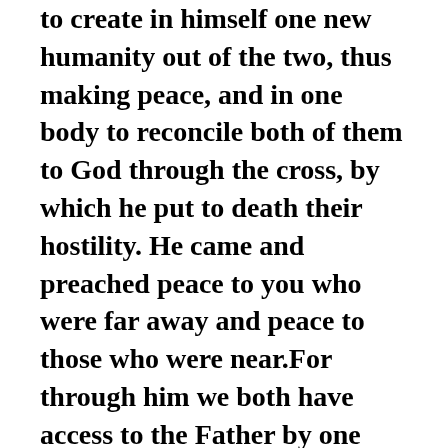to create in himself one new humanity out of the two, thus making peace, and in one body to reconcile both of them to God through the cross, by which he put to death their hostility. He came and preached peace to you who were far away and peace to those who were near.For through him we both have access to the Father by one Spirit.
Consequently, you are no longer foreigners and strangers, but fellow citizens with God's people and also members of his household, built on the foundation of the apostles and prophets, with Christ Jesus himself as the chief cornerstone. In him the whole building is joined together and rises